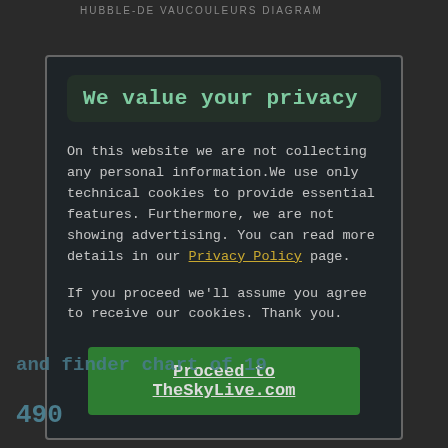HUBBLE-DE VAUCOULEURS DIAGRAM
We value your privacy
On this website we are not collecting any personal information.We use only technical cookies to provide essential features. Furthermore, we are not showing advertising. You can read more details in our Privacy Policy page.
If you proceed we'll assume you agree to receive our cookies. Thank you.
Proceed to TheSkyLive.com
490